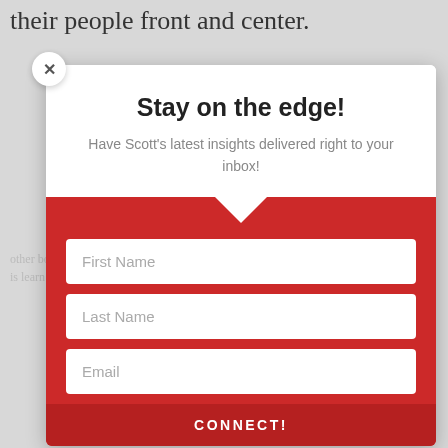their people front and center.
[Figure (screenshot): A modal popup overlay on a webpage. The modal has a white close button (×) in the top-left corner. The white upper section contains the heading 'Stay on the edge!' and subtitle 'Have Scott's latest insights delivered right to your inbox!'. Behind the modal, watermark text reads 'Scott Zimmerman'. The red lower section of the modal contains an input form with fields for First Name, Last Name, and Email, plus a CONNECT! button partially visible at the bottom.]